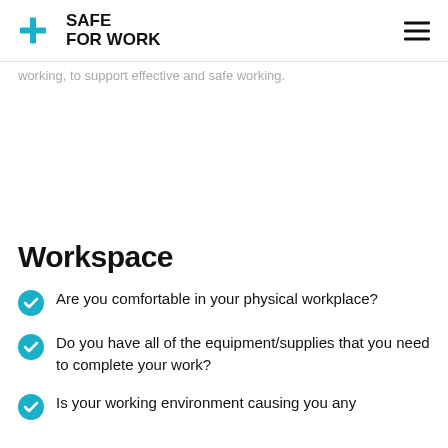SAFE FOR WORK
working, to support effective and safe working.
Workspace
Are you comfortable in your physical workplace?
Do you have all of the equipment/supplies that you need to complete your work?
Is your working environment causing you any